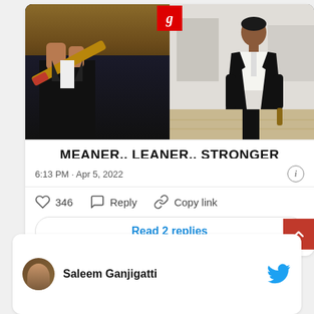[Figure (photo): Meme image split in two halves: left side shows hands holding a cricket bat/weapon in dark setting, right side shows a man in black suit walking in a corridor. A red 'g' logo overlay at top center. Text '*DK' on right half. Bottom bar text reads 'MEANER.. LEANER.. STRONGER']
6:13 PM · Apr 5, 2022
346  Reply  Copy link
Read 2 replies
Saleem Ganjigatti